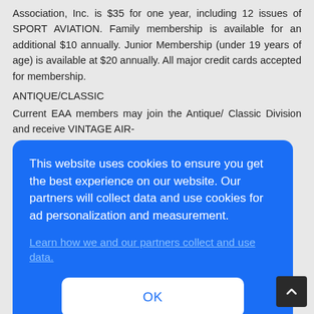Association, Inc. is $35 for one year, including 12 issues of SPORT AVIATION. Family membership is available for an additional $10 annually. Junior Membership (under 19 years of age) is available at $20 annually. All major credit cards accepted for membership.
ANTIQUE/CLASSIC
Current EAA members may join the Antique/ Classic Division and receive VINTAGE AIR-
[Figure (screenshot): Cookie consent overlay dialog with blue background. Text reads: 'This website uses cookies to ensure you get the best experience on our website. Our partners will collect data and use cookies for ad personalization and measurement.' followed by a link 'Learn how we and our partners collect and use data.' and an OK button.]
Division is available for $45 per year (SPORT